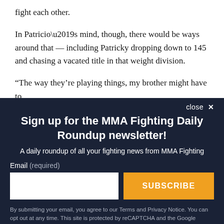fight each other.
In Patricio’s mind, though, there would be ways around that — including Patricky dropping down to 145 and chasing a vacated title in that weight division.
“The way they’re playing things, my brother might have to
close ×
Sign up for the MMA Fighting Daily Roundup newsletter!
A daily roundup of all your fighting news from MMA Fighting
Email (required)
SUBSCRIBE
By submitting your email, you agree to our Terms and Privacy Notice. You can opt out at any time. This site is protected by reCAPTCHA and the Google Privacy Policy and Terms of Service apply.